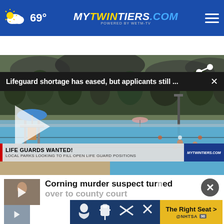69° mytwintiers.com
Lifeguard shortage has eased, but applicants still ... ×
[Figure (screenshot): Video thumbnail showing an outdoor public swimming pool with lifeguard stand, umbrella, trees, and dark sky in background. Lower third graphic reads: LIFE GUARDS WANTED! LOCAL PARKS LOOKING TO FILL OPEN LIFE GUARD POSITIONS. MyTwinTiers.com logo in lower right.]
Corning murder suspect turned over to county court
[Figure (infographic): NHTSA The Right Seat advertisement showing child safety seat icons and The Right Seat > call to action in yellow/gold, with NHTSA logo.]
...ding up for sale